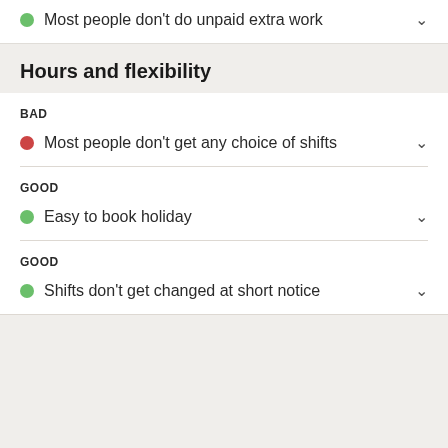Most people don't do unpaid extra work
Hours and flexibility
BAD
Most people don't get any choice of shifts
GOOD
Easy to book holiday
GOOD
Shifts don't get changed at short notice